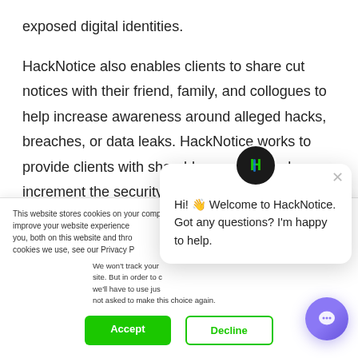exposed digital identities.
HackNotice also enables clients to share cut notices with their friend, family, and collogues to help increase awareness around alleged hacks, breaches, or data leaks. HackNotice works to provide clients with sharable reports to help increment the security of our clients personal network. The surety of the people
This website stores cookies on your computer. These are used to improve your website experience you, both on this website and thro cookies we use, see our Privacy P
We won't track your site. But in order to c we'll have to use jus not asked to make this choice again.
[Figure (screenshot): Chat popup with HackNotice logo avatar, message: Hi! Welcome to HackNotice. Got any questions? I'm happy to help. With a close X button.]
Accept
Decline